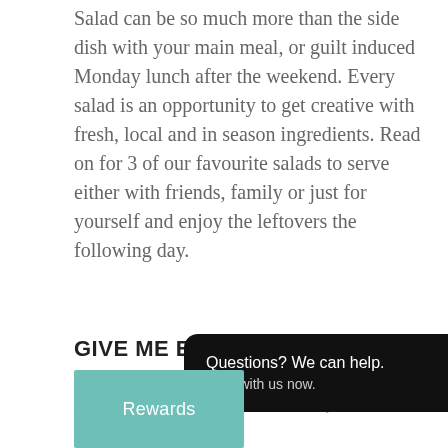Salad can be so much more than the side dish with your main meal, or guilt induced Monday lunch after the weekend. Every salad is an opportunity to get creative with fresh, local and in season ingredients. Read on for 3 of our favourite salads to serve either with friends, family or just for yourself and enjoy the leftovers the following day.
GIVE ME ENERGY BOWL
PESTO QUINOA, SWEET POTATO, KALE & AVO